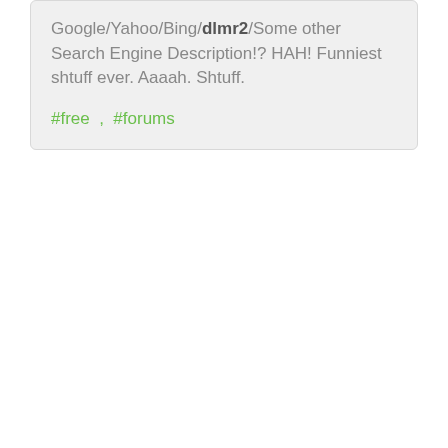Google/Yahoo/Bing/dlmr2/Some other Search Engine Description!? HAH! Funniest shtuff ever. Aaaah. Shtuff.
#free , #forums